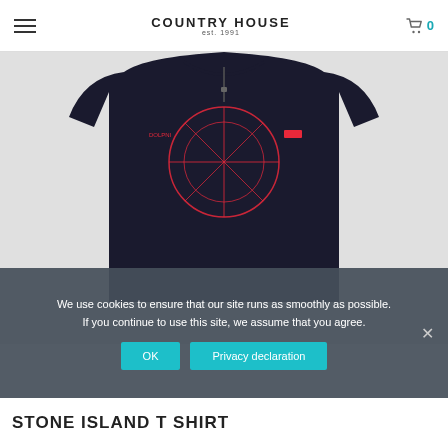COUNTRY HOUSE est. 1991
[Figure (photo): Black t-shirt with red graphic design (geometric lines and compass-like pattern) displayed on a light grey background, top portion of the shirt visible]
We use cookies to ensure that our site runs as smoothly as possible. If you continue to use this site, we assume that you agree.
OK  Privacy declaration
STONE ISLAND T SHIRT